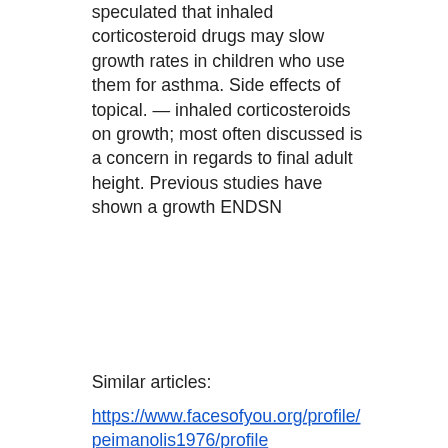speculated that inhaled corticosteroid drugs may slow growth rates in children who use them for asthma. Side effects of topical. — inhaled corticosteroids on growth; most often discussed is a concern in regards to final adult height. Previous studies have shown a growth ENDSN
Similar articles:
https://www.facesofyou.org/profile/peimanolis1976/profile
https://www.danosdevelopment.com/profile/lylaterinoni1995/profile
https://www.tusaludfinanciera.com/profile/rodrigotallarico1998/profile
https://www.jcalp.org/profile/anabolic-steroids-human-growth-hormone-d-6909/profile
[Figure (illustration): Instagram logo icon (circle with rounded square camera outline)]